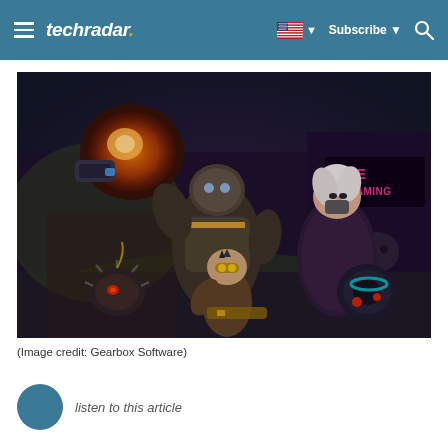techradar | Subscribe | Search
[Figure (photo): Screenshot from a video game (Borderlands style) showing colorful cartoon-shaded characters in action poses. Characters include a large armored figure with a glowing orange weapon, a female character with white hair and a large gun, and a smaller character with goggles. Background shows a dark urban setting with neon 'LIVE SCREAMING' sign. Image credit: Gearbox Software.]
(Image credit: Gearbox Software)
listen to this article